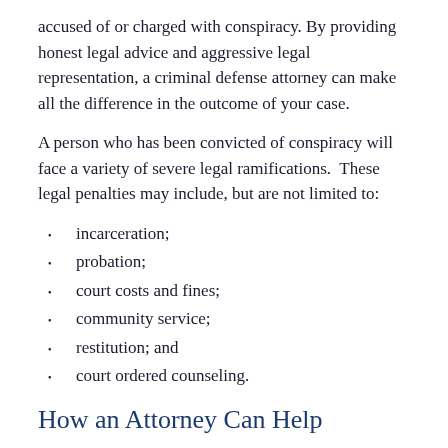accused of or charged with conspiracy. By providing honest legal advice and aggressive legal representation, a criminal defense attorney can make all the difference in the outcome of your case.
A person who has been convicted of conspiracy will face a variety of severe legal ramifications. These legal penalties may include, but are not limited to:
incarceration;
probation;
court costs and fines;
community service;
restitution; and
court ordered counseling.
How an Attorney Can Help
After a person has been charged with or arrested for conspiracy, it is imperative that that he or she